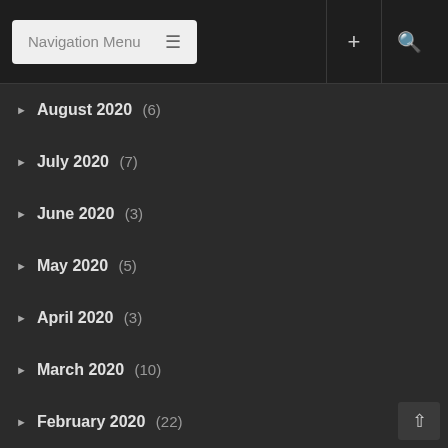Navigation Menu
August 2020 (6)
July 2020 (7)
June 2020 (3)
May 2020 (5)
April 2020 (3)
March 2020 (10)
February 2020 (22)
January 2020 (10)
December 2019 (8)
November 2019 (30)
October 2019 (30)
September 2019 (27)
August 2019 (41)
July 2019 (22)